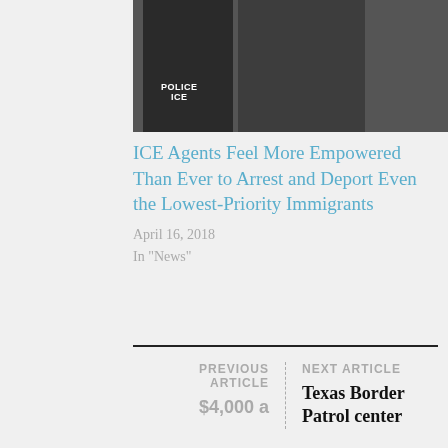[Figure (photo): Photo of law enforcement officers in ICE and POLICE jackets standing near a building with stairs]
ICE Agents Feel More Empowered Than Ever to Arrest and Deport Even the Lowest-Priority Immigrants
April 16, 2018
In "News"
PREVIOUS ARTICLE
$4,000 a
NEXT ARTICLE
Texas Border Patrol center